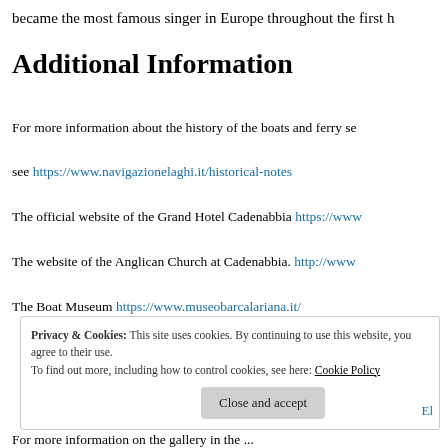became the most famous singer in Europe throughout the first h
Additional Information
For more information about the history of the boats and ferry se
see https://www.navigazionelaghi.it/historical-notes
The official website of the Grand Hotel Cadenabbia https://www
The website of the Anglican Church at Cadenabbia. http://www
The Boat Museum https://www.museobarcalariana.it/
Privacy & Cookies: This site uses cookies. By continuing to use this website, you agree to their use. To find out more, including how to control cookies, see here: Cookie Policy
Close and accept
For more information on the gallery in the ...